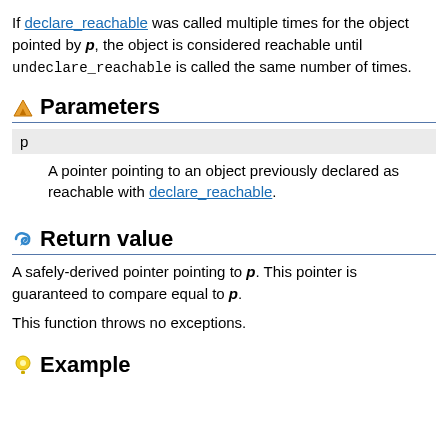If declare_reachable was called multiple times for the object pointed by p, the object is considered reachable until undeclare_reachable is called the same number of times.
Parameters
| Parameter | Description |
| --- | --- |
| p | A pointer pointing to an object previously declared as reachable with declare_reachable. |
Return value
A safely-derived pointer pointing to p. This pointer is guaranteed to compare equal to p.
This function throws no exceptions.
Example